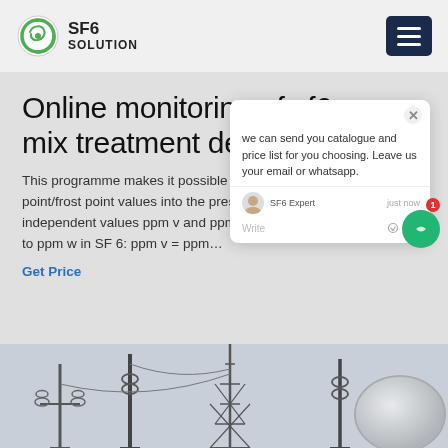SF6 SOLUTION
Online monitoring of sf6 mix treatment delixi
This programme makes it possible to convert dew point/frost point values into the pressure-independent values ppm v and ppm w. ppm v to ppm w in SF 6: ppm v = ppm
Get Price
[Figure (screenshot): Chat popup overlay showing message: 'we can send you catalogue and price list for you choosing. Leave us your email or whatsapp.' with SF6 Expert label and 'just now' timestamp, Write input field with thumbs up and attachment icons.]
[Figure (photo): Bottom portion of page showing electrical substation infrastructure — power transmission towers, poles, and equipment silhouettes against a light sky background.]